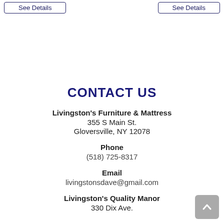See Details
See Details
CONTACT US
Livingston's Furniture & Mattress
355 S Main St.
Gloversville, NY 12078
Phone
(518) 725-8317
Email
livingstonsdave@gmail.com
Livingston's Quality Manor
330 Dix Ave.